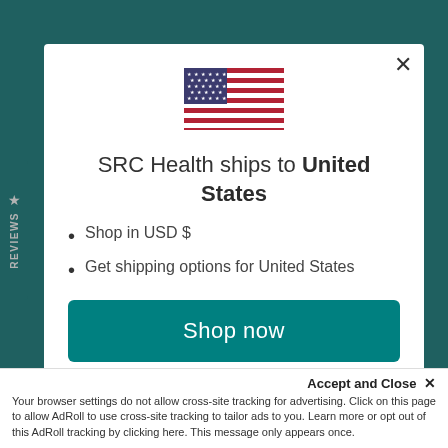[Figure (screenshot): Modal dialog on SRC Health website showing US flag, shipping destination message, shop options, and a teal Shop now button. Background is teal website with Reviews sidebar tab.]
SRC Health ships to United States
Shop in USD $
Get shipping options for United States
Shop now
Change shipping country
Accept and Close ×
Your browser settings do not allow cross-site tracking for advertising. Click on this page to allow AdRoll to use cross-site tracking to tailor ads to you. Learn more or opt out of this AdRoll tracking by clicking here. This message only appears once.